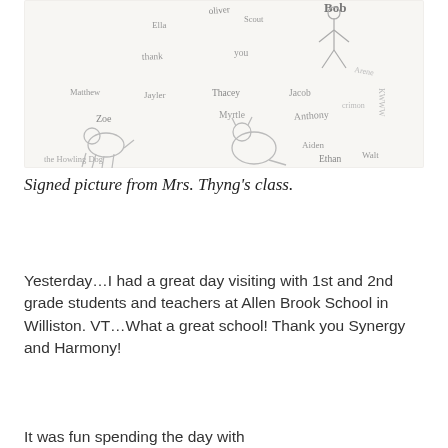[Figure (photo): A hand-drawn, signed picture from Mrs. Thyng's class showing children's drawings of animals (including a dog and a cat) with handwritten names of students: Oliver, Ella, Scout, Bob, thank you, Arene, Matthew, Taylor, Thacey, Jacob, Myrtle, Anthony, Zoe, Aiden, Ethan, Walt, and text 'the Howling Dog']
Signed picture from Mrs. Thyng's class.
Yesterday…I had a great day visiting with 1st and 2nd grade students and teachers at Allen Brook School in Williston. VT…What a great school! Thank you Synergy and Harmony!
It was fun spending the day with